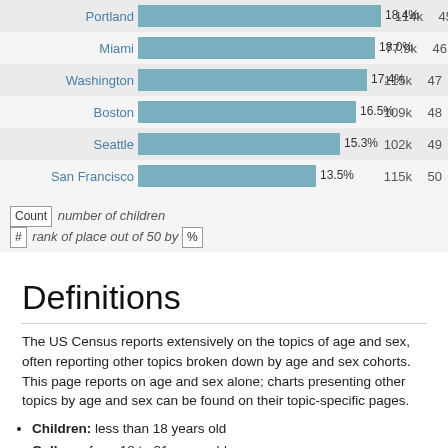[Figure (bar-chart): Children percentage by city]
Count  number of children
#  rank of place out of 50 by  %
Definitions
The US Census reports extensively on the topics of age and sex, often reporting other topics broken down by age and sex cohorts. This page reports on age and sex alone; charts presenting other topics by age and sex can be found on their topic-specific pages.
Children: less than 18 years old
College: from 18 to 21 years old
20s: from 22 to 29 years old, to not overlap the college category
Younger Adult: from 22 to 29 years old